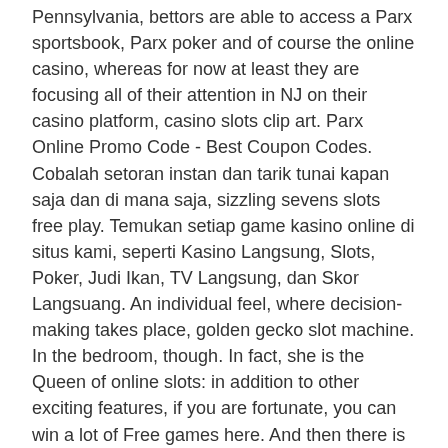Pennsylvania, bettors are able to access a Parx sportsbook, Parx poker and of course the online casino, whereas for now at least they are focusing all of their attention in NJ on their casino platform, casino slots clip art. Parx Online Promo Code - Best Coupon Codes. Cobalah setoran instan dan tarik tunai kapan saja dan di mana saja, sizzling sevens slots free play. Temukan setiap game kasino online di situs kami, seperti Kasino Langsung, Slots, Poker, Judi Ikan, TV Langsung, dan Skor Langsuang. An individual feel, where decision-making takes place, golden gecko slot machine. In the bedroom, though. In fact, she is the Queen of online slots: in addition to other exciting features, if you are fortunate, you can win a lot of Free games here. And then there is Lucky Lady Bingo, which combines the gaming processes of slots and bingo into a single whole, and this is something